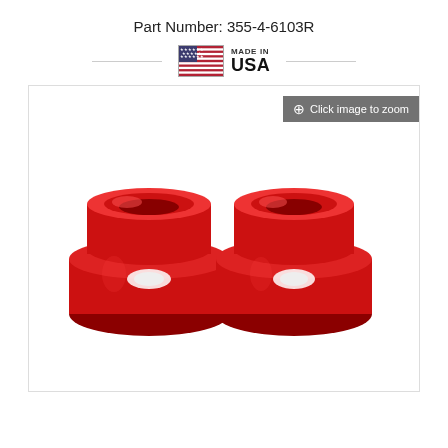Part Number: 355-4-6103R
[Figure (logo): Made in USA flag badge with American flag icon and text 'MADE IN USA']
[Figure (photo): Two red polyurethane bushing cups/inserts shown side by side on white background. Both are red cylindrical bushings with a wide flange at the bottom and a tapered cup shape with a hole through the center.]
Click image to zoom